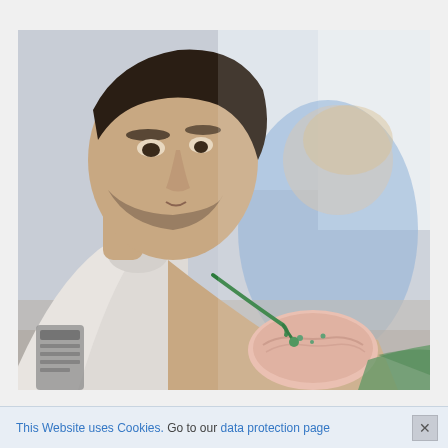[Figure (photo): A young man with stubble in a white coat closely examining and working on a dental mold/prosthetic with a tool (green instrument). In the blurred background, a person in a blue top is also working. Dental lab or clinical setting. Green material and equipment visible in foreground.]
This Website uses Cookies. Go to our data protection page